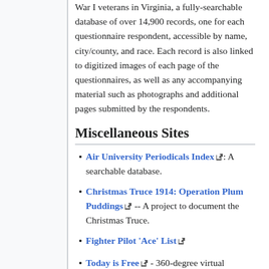War I veterans in Virginia, a fully-searchable database of over 14,900 records, one for each questionnaire respondent, accessible by name, city/county, and race. Each record is also linked to digitized images of each page of the questionnaires, as well as any accompanying material such as photographs and additional pages submitted by the respondents.
Miscellaneous Sites
Air University Periodicals Index: A searchable database.
Christmas Truce 1914: Operation Plum Puddings -- A project to document the Christmas Truce.
Fighter Pilot 'Ace' List
Today is Free - 360-degree virtual